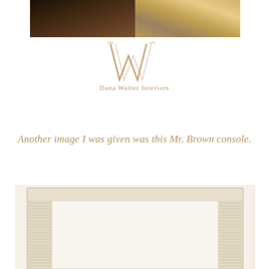[Figure (photo): Top portion showing interior room photos — dark wood flooring/furniture on left, brighter room view on right]
[Figure (logo): Dana Walter Interiors logo with stylized W monogram in gold/bronze color]
Another image I was given was this Mr. Brown console.
[Figure (photo): Mr. Brown console table with light cream/white textured surface, bottom portion of image visible]